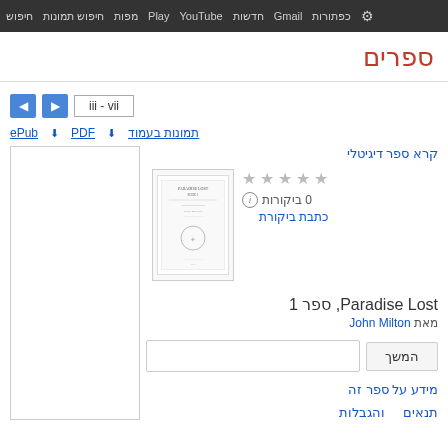חיפוש  חיפוש תמונות  מפות  Play  YouTube  חדשות  Gmail  כפתורות
ספרים
iii - vii
ePub  PDF  תמונות בעמוד
קרא ספר דיגיטלי
0 ביקורות
כתבת ביקורת
[Figure (illustration): Book cover thumbnail of Paradise Lost]
ספר 1 Paradise Lost,
מאת John Milton
המשך
מידע על ספר זה
תנאים   והגבלות